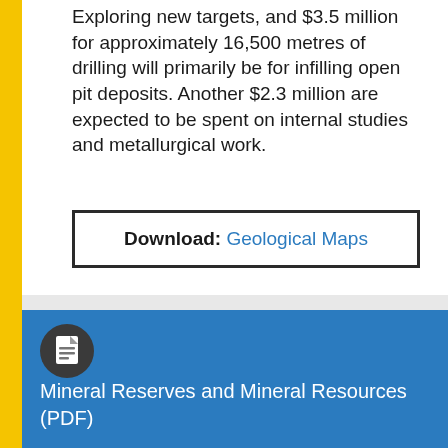Exploring new targets, and $3.5 million for approximately 16,500 metres of drilling will primarily be for infilling open pit deposits. Another $2.3 million are expected to be spent on internal studies and metallurgical work.
Download: Geological Maps
[Figure (illustration): Document icon — white document/lines on dark circle background]
Mineral Reserves and Mineral Resources (PDF)